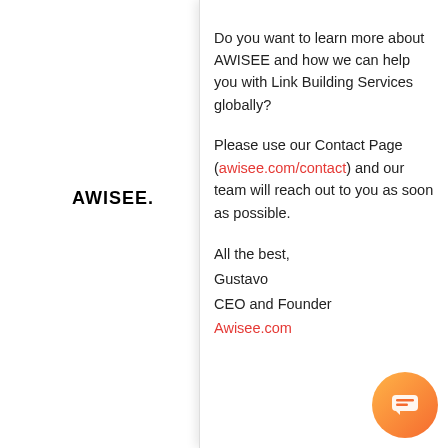[Figure (logo): AWISEE. logo in bold black with red dot]
[Figure (illustration): Large 'Au' text in serif font, partially visible]
Your European Agency Let's ...
Why invest in Lin...
- Link Building remains the #1 ranking factor on Google
- SEO is most Cost Effective Digital Marketing Strategy there is
Do you want to learn more about AWISEE and how we can help you with Link Building Services globally?
Please use our Contact Page (awisee.com/contact) and our team will reach out to you as soon as possible.
All the best,
Gustavo
CEO and Founder
Awisee.com